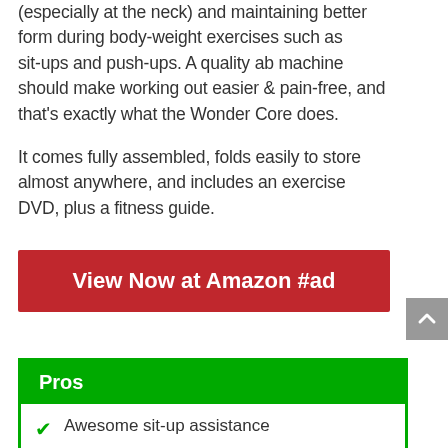(especially at the neck) and maintaining better form during body-weight exercises such as sit-ups and push-ups. A quality ab machine should make working out easier & pain-free, and that's exactly what the Wonder Core does.

It comes fully assembled, folds easily to store almost anywhere, and includes an exercise DVD, plus a fitness guide.
View Now at Amazon #ad
Pros
Awesome sit-up assistance
Prevents neck pain while doing ab workouts